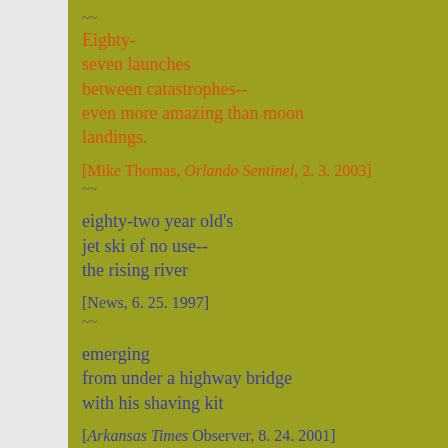~~
Eighty-
seven launches
between catastrophes--
even more amazing than moon
landings.
[Mike Thomas, Orlando Sentinel, 2. 3. 2003]
~~
eighty-two year old's
jet ski of no use--
the rising river
[News, 6. 25. 1997]
~~
emerging
from under a highway bridge
with his shaving kit
[Arkansas Times Observer, 8. 24. 2001]
~~
enactors go home
skirting a real battle--
excluding women
[News, 6. 25. 1997]